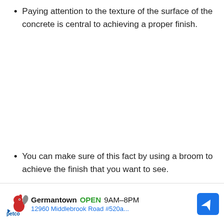Paying attention to the texture of the surface of the concrete is central to achieving a proper finish.
You can make sure of this fact by using a broom to achieve the finish that you want to see.
Alternatively, you can also make use of a trowel to attain
[Figure (other): Petco advertisement banner showing Germantown location, open 9AM-8PM, address 12960 Middlebrook Road #520a, with navigation arrow icon]